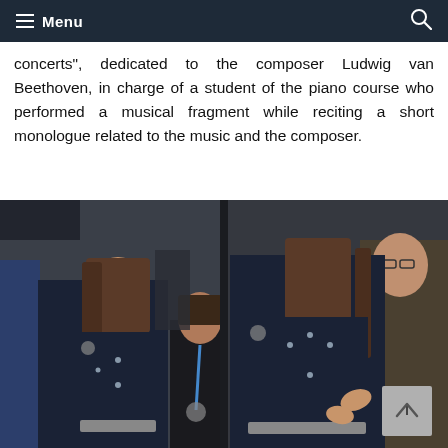Menu
concerts", dedicated to the composer Ludwig van Beethoven, in charge of a student of the piano course who performed a musical fragment while reciting a short monologue related to the music and the composer.
[Figure (photo): Two side-by-side photos of a woman in a dark navy outfit attending an event, with a young child visible in the center background and other attendees in the background.]